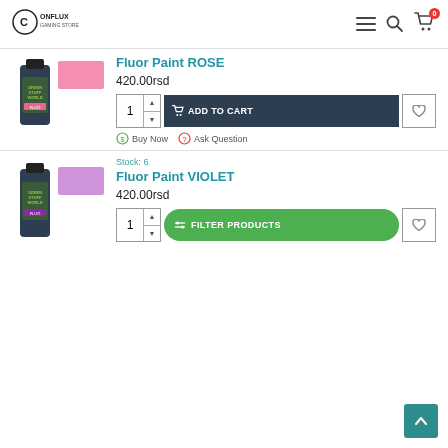Conflux Gaming Store – navigation header with logo, menu, search, and cart (0 items)
[Figure (screenshot): Partial product image: Green Stuff World Fluor Paint ROSE bottle with pink swatch]
Fluor Paint ROSE
420.00rsd
1 ADD TO CART ♡
Buy Now  Ask Question
[Figure (screenshot): Product image: Green Stuff World Fluor Paint VIOLET bottle with purple swatch]
Stock: 6
Fluor Paint VIOLET
420.00rsd
1 FILTER PRODUCTS ♡
FILTER PRODUCTS  ↑